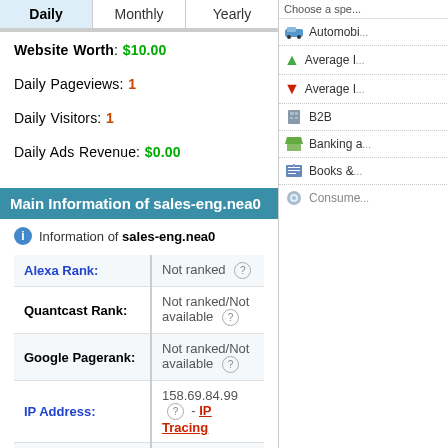| Daily | Monthly | Yearly |
| --- | --- | --- |
Website Worth: $10.00
Daily Pageviews: 1
Daily Visitors: 1
Daily Ads Revenue: $0.00
Main Information of sales-eng.nea0
Information of sales-eng.nea0
| Field | Value |
| --- | --- |
| Alexa Rank: | Not ranked |
| Quantcast Rank: | Not ranked/Not available |
| Google Pagerank: | Not ranked/Not available |
| IP Address: | 158.69.84.99 - IP Tracing |
| Site Age: | Not available. |
Automobi...
Average I...
Average I...
B2B
Banking a...
Books &...
Consume...